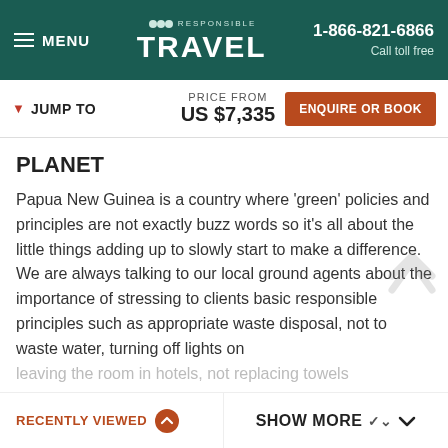MENU | Responsible Travel | 1-866-821-6866 Call toll free
JUMP TO | PRICE FROM US $7,335 | ENQUIRE OR BOOK
PLANET
Papua New Guinea is a country where 'green' policies and principles are not exactly buzz words so it's all about the little things adding up to slowly start to make a difference. We are always talking to our local ground agents about the importance of stressing to clients basic responsible principles such as appropriate waste disposal, not to waste water, turning off lights on leaving the room in hotels, not replacing towels
RECENTLY VIEWED | SHOW MORE